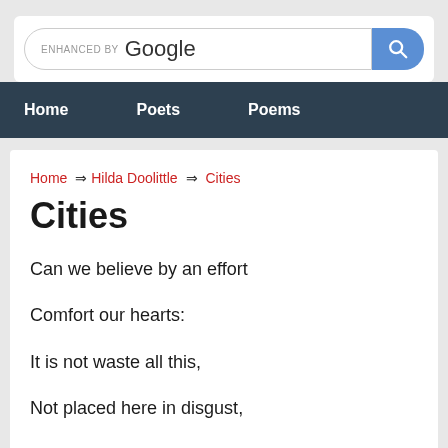[Figure (screenshot): Google search bar with 'ENHANCED BY Google' text and a blue search button with magnifying glass icon]
Home   Poets   Poems
Home ⇒ ​Hilda Doolittle ⇒ Cities
Cities
Can we believe by an effort
Comfort our hearts:
It is not waste all this,
Not placed here in disgust,
Street after street,
Each patterned alike,
No grace to lighten
A single house of the hundred